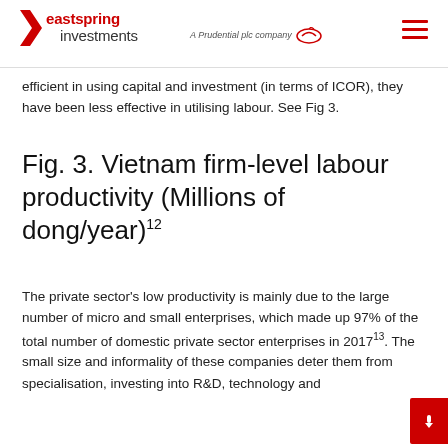eastspring investments — A Prudential plc company
efficient in using capital and investment (in terms of ICOR), they have been less effective in utilising labour. See Fig 3.
Fig. 3. Vietnam firm-level labour productivity (Millions of dong/year)12
The private sector's low productivity is mainly due to the large number of micro and small enterprises, which made up 97% of the total number of domestic private sector enterprises in 201713. The small size and informality of these companies deter them from specialisation, investing into R&D, technology and